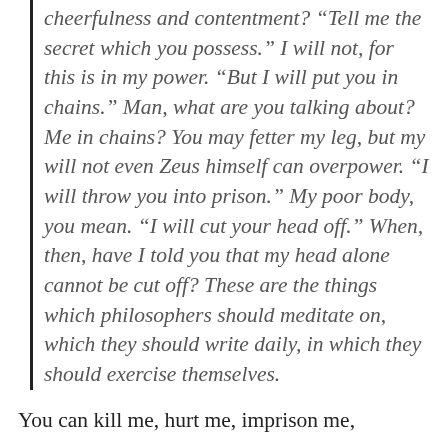cheerfulness and contentment? “Tell me the secret which you possess.” I will not, for this is in my power. “But I will put you in chains.” Man, what are you talking about? Me in chains? You may fetter my leg, but my will not even Zeus himself can overpower. “I will throw you into prison.” My poor body, you mean. “I will cut your head off.” When, then, have I told you that my head alone cannot be cut off? These are the things which philosophers should meditate on, which they should write daily, in which they should exercise themselves.
You can kill me, hurt me, imprison me,